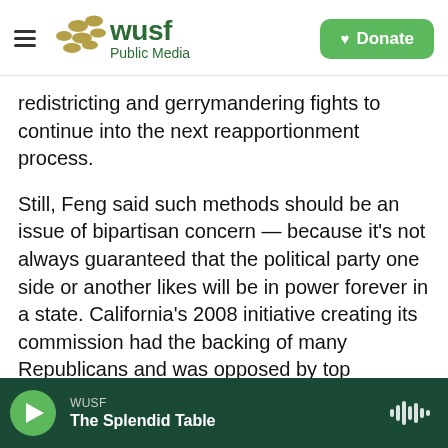WUSF Public Media — Donate
redistricting and gerrymandering fights to continue into the next reapportionment process.
Still, Feng said such methods should be an issue of bipartisan concern — because it's not always guaranteed that the political party one side or another likes will be in power forever in a state. California's 2008 initiative creating its commission had the backing of many Republicans and was opposed by top Democrats. Meanwhile, in Maryland, GOP Gov. Larry Hogan has been supportive of the idea of an independent commission in his state.
WUSF — The Splendid Table